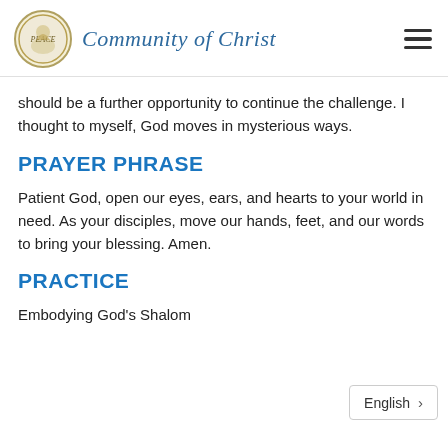Community of Christ
should be a further opportunity to continue the challenge. I thought to myself, God moves in mysterious ways.
PRAYER PHRASE
Patient God, open our eyes, ears, and hearts to your world in need. As your disciples, move our hands, feet, and our words to bring your blessing. Amen.
PRACTICE
Embodying God's Shalom
English